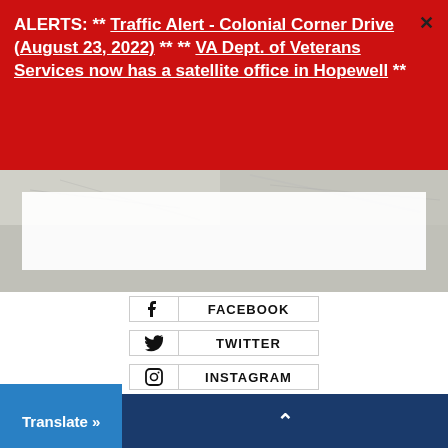ALERTS: ** Traffic Alert - Colonial Corner Drive (August 23, 2022) ** ** VA Dept. of Veterans Services now has a satellite office in Hopewell **
[Figure (photo): Hero image banner with light gray/white tones, partially obscured by a white overlay box]
FACEBOOK
TWITTER
INSTAGRAM
Translate »